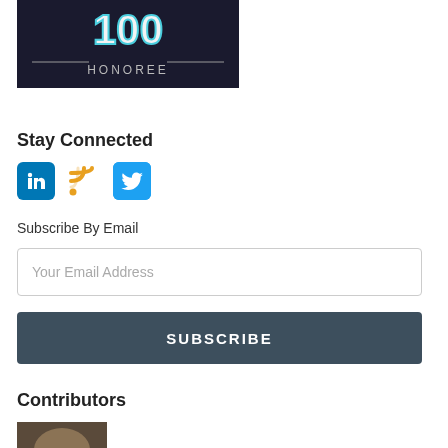[Figure (logo): 100 Honoree badge/logo with dark background, white/cyan '100' text and 'HONOREE' text with decorative lines]
Stay Connected
[Figure (infographic): Social media icons: LinkedIn (blue), RSS feed (orange), Twitter (light blue)]
Subscribe By Email
Your Email Address
SUBSCRIBE
Contributors
[Figure (photo): Headshot photo of a contributor, partially visible at bottom of page]